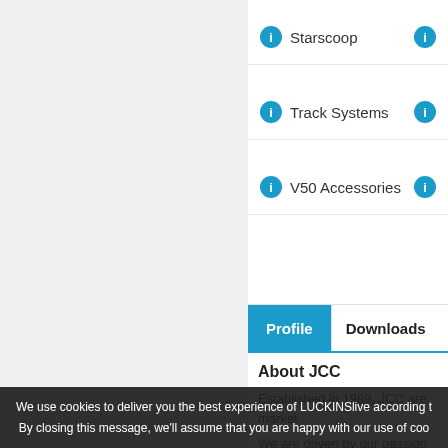Starscoop
Track Systems
V50 Accessories
Profile   Downloads
About JCC
Established in 1989, JCC are market
We are driven by our passion to create advantage of the benefits that the l We believe that LED lighting is the m
We use cookies to deliver you the best experience of LUCKINSlive according to By closing this message, we'll assume that you are happy with our use of coo